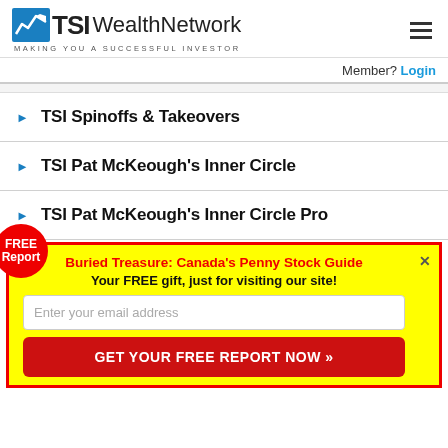TSI Wealth Network — MAKING YOU A SUCCESSFUL INVESTOR
Member? Login
TSI Spinoffs & Takeovers
TSI Pat McKeough's Inner Circle
TSI Pat McKeough's Inner Circle Pro
FREE Report
Buried Treasure: Canada's Penny Stock Guide
Your FREE gift, just for visiting our site!
Enter your email address
GET YOUR FREE REPORT NOW »